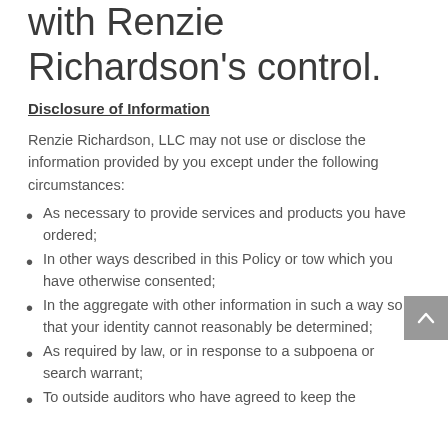with Renzie Richardson's control.
Disclosure of Information
Renzie Richardson, LLC may not use or disclose the information provided by you except under the following circumstances:
As necessary to provide services and products you have ordered;
In other ways described in this Policy or tow which you have otherwise consented;
In the aggregate with other information in such a way so that your identity cannot reasonably be determined;
As required by law, or in response to a subpoena or search warrant;
To outside auditors who have agreed to keep the